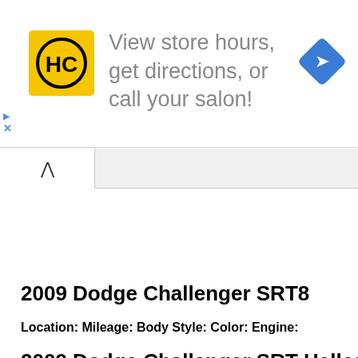[Figure (infographic): Advertisement banner with HC (Hair Club) yellow logo on left, text 'View store hours, get directions, or call your salon!' in gray, and a blue diamond navigation icon on the right. Play and close (X) controls on far left.]
2009 Dodge Challenger SRT8
Location: Mileage: Body Style: Color: Engine:
2009 Dodge Challenger SRT Hellcat Ba...